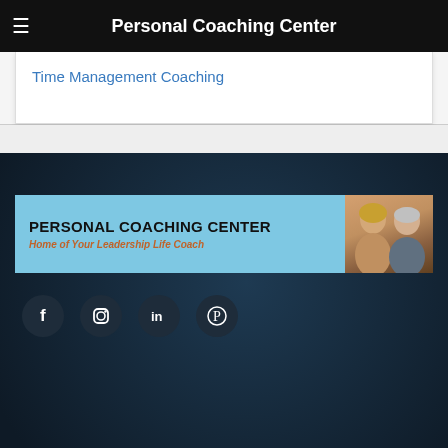Personal Coaching Center
Time Management Coaching
[Figure (logo): Personal Coaching Center banner with blue background, bold black title 'PERSONAL COACHING CENTER', orange italic subtitle 'Home of Your Leadership Life Coach', and photo of a man and woman on the right side]
[Figure (infographic): Social media icons: Facebook (f), Instagram, LinkedIn (in), Pinterest circle icons on dark background]
[Figure (infographic): Bottom share bar with Facebook (blue), Twitter (light blue), LinkedIn (dark blue), Pinterest (red), and More/Plus (orange) buttons]